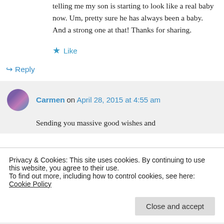telling me my son is starting to look like a real baby now. Um, pretty sure he has always been a baby. And a strong one at that! Thanks for sharing.
★ Like
↪ Reply
Carmen on April 28, 2015 at 4:55 am
Sending you massive good wishes and
Privacy & Cookies: This site uses cookies. By continuing to use this website, you agree to their use.
To find out more, including how to control cookies, see here: Cookie Policy
Close and accept
↪ Reply